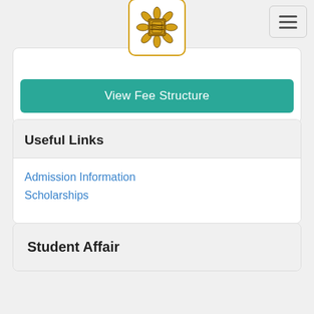[Figure (logo): University logo: golden flower/mandala design with decorative border, inside a white rounded box with gold border]
[Figure (other): Hamburger menu button with three horizontal lines]
View Fee Structure
Useful Links
Admission Information
Scholarships
Student Affair